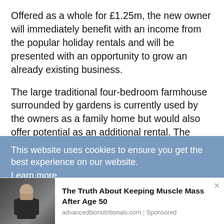Offered as a whole for £1.25m, the new owner will immediately benefit with an income from the popular holiday rentals and will be presented with an opportunity to grow an already existing business.
The large traditional four-bedroom farmhouse surrounded by gardens is currently used by the owners as a family home but would also offer potential as an additional rental. The original, stone built one-bedroom Headswood Cottage is attached to the main farmhouse and is accessed via a private entrance, with the benefit of a private garden.
This website uses cookies to ensure you get the best experience on our website. Learn more
Related Articles
[Figure (photo): Photo of an older man with a beard in a gym setting]
The Truth About Keeping Muscle Mass After Age 50
advancedbionutritionals.com | Sponsored